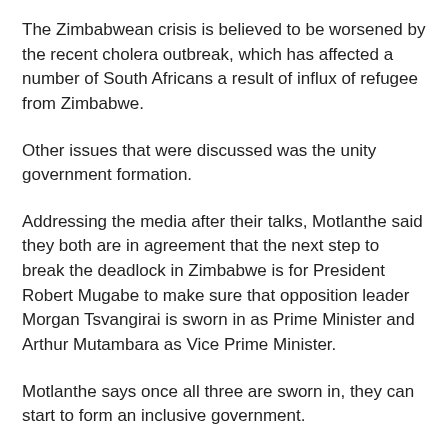The Zimbabwean crisis is believed to be worsened by the recent cholera outbreak, which has affected a number of South Africans a result of influx of refugee from Zimbabwe.
Other issues that were discussed was the unity government formation.
Addressing the media after their talks, Motlanthe said they both are in agreement that the next step to break the deadlock in Zimbabwe is for President Robert Mugabe to make sure that opposition leader Morgan Tsvangirai is sworn in as Prime Minister and Arthur Mutambara as Vice Prime Minister.
Motlanthe says once all three are sworn in, they can start to form an inclusive government.
Bush radio 89.5FM newsroom at Sunday, November 23, 2008
No comments: